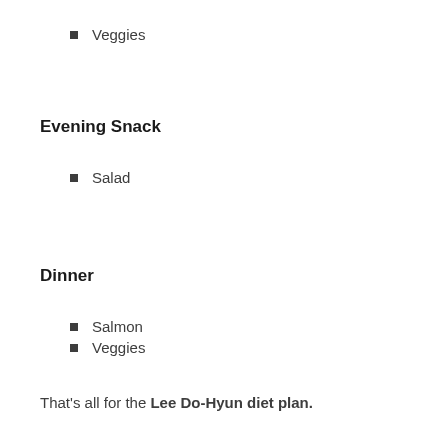Veggies
Evening Snack
Salad
Dinner
Salmon
Veggies
That's all for the Lee Do-Hyun diet plan.